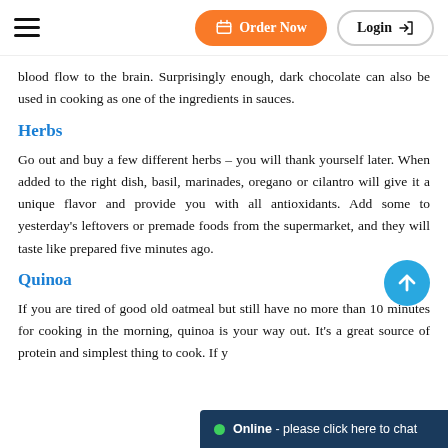Order Now  Login
blood flow to the brain. Surprisingly enough, dark chocolate can also be used in cooking as one of the ingredients in sauces.
Herbs
Go out and buy a few different herbs – you will thank yourself later. When added to the right dish, basil, marinades, oregano or cilantro will give it a unique flavor and provide you with all antioxidants. Add some to yesterday's leftovers or premade foods from the supermarket, and they will taste like prepared five minutes ago.
Quinoa
If you are tired of good old oatmeal but still have no more than 10 minutes for cooking in the morning, quinoa is your way out. It's a great source of protein and simplest thing to cook. If y…
[Figure (other): Online chat bar: green dot, 'Online - please click here to chat' on dark navy background]